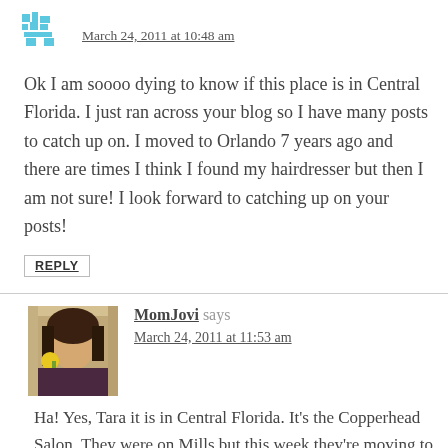March 24, 2011 at 10:48 am
Ok I am soooo dying to know if this place is in Central Florida. I just ran across your blog so I have many posts to catch up on. I moved to Orlando 7 years ago and there are times I think I found my hairdresser but then I am not sure! I look forward to catching up on your posts!
REPLY
MomJovi says
March 24, 2011 at 11:53 am
Ha! Yes, Tara it is in Central Florida. It's the Copperhead Salon. They were on Mills but this week they're moving to Orange Avenue, above Ethos Cafe (near Ivanhoe Row). Google them or they also have a Facebook page. I know